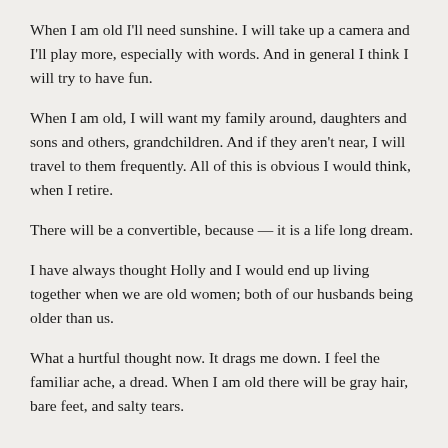When I am old I'll need sunshine. I will take up a camera and I'll play more, especially with words. And in general I think I will try to have fun.
When I am old, I will want my family around, daughters and sons and others, grandchildren. And if they aren't near, I will travel to them frequently. All of this is obvious I would think, when I retire.
There will be a convertible, because — it is a life long dream.
I have always thought Holly and I would end up living together when we are old women; both of our husbands being older than us.
What a hurtful thought now. It drags me down. I feel the familiar ache, a dread. When I am old there will be gray hair, bare feet, and salty tears.